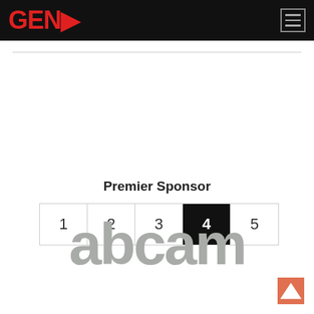GENP
[Figure (other): Pagination control showing pages 1, 2, 3, 4 (active/selected), 5]
Premier Sponsor
[Figure (logo): abcam logo in gray color]